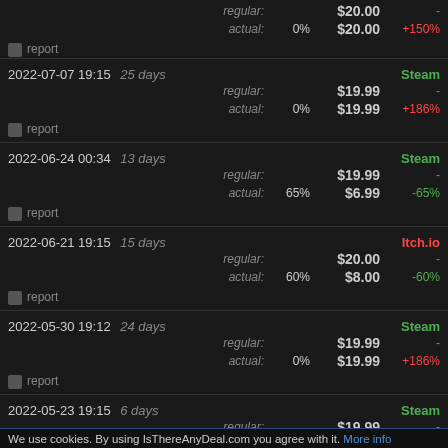regular: $20.00 -  actual: 0% $20.00 +150%
report
2022-07-07 19:15 25 days  Steam  regular: $19.99 -  actual: 0% $19.99 +186%
report
2022-06-24 00:34 13 days  Steam  regular: $19.99 -  actual: 65% $6.99 -65%
report
2022-06-21 19:15 15 days  Itch.io  regular: $20.00 -  actual: 60% $8.00 -60%
report
2022-05-30 19:12 24 days  Steam  regular: $19.99 -  actual: 0% $19.99 +186%
report
2022-05-23 19:15 6 days  Steam  regular: $19.99 -  actual: 65% $6.99 -65%
report
We use cookies. By using IsThereAnyDeal.com you agree with it. More info